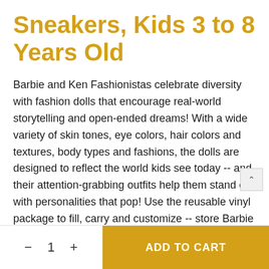Sneakers, Kids 3 to 8 Years Old
Barbie and Ken Fashionistas celebrate diversity with fashion dolls that encourage real-world storytelling and open-ended dreams! With a wide variety of skin tones, eye colors, hair colors and textures, body types and fashions, the dolls are designed to reflect the world kids see today -- and their attention-grabbing outfits help them stand out with personalities that pop! Use the reusable vinyl package to fill, carry and customize -- store Barbie fashions and accessories, carry a doll anywhere, even decorate it and use fo self-expression! Kids can collect Barbie dolls and